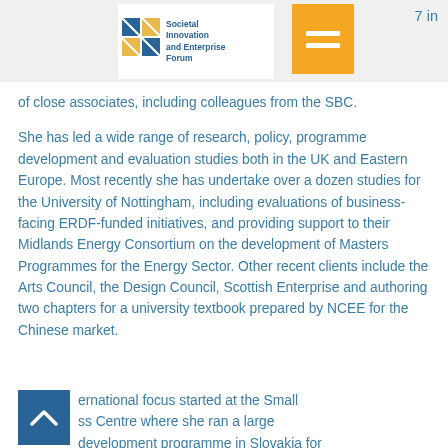[Figure (logo): Societal Innovation and Enterprise Forum logo with geometric building icon in teal and gold]
[Figure (illustration): Orange square hamburger menu icon with two white horizontal lines]
of close associates, including colleagues from the SBC.
She has led a wide range of research, policy, programme development and evaluation studies both in the UK and Eastern Europe. Most recently she has undertake over a dozen studies for the University of Nottingham, including evaluations of business-facing ERDF-funded initiatives, and providing support to their Midlands Energy Consortium on the development of Masters Programmes for the Energy Sector.  Other recent clients include the Arts Council, the Design Council, Scottish Enterprise and authoring two chapters for a university textbook prepared by NCEE for the Chinese market.
ernational focus started at the Small ss Centre where she ran a large development programme in Slovakia for